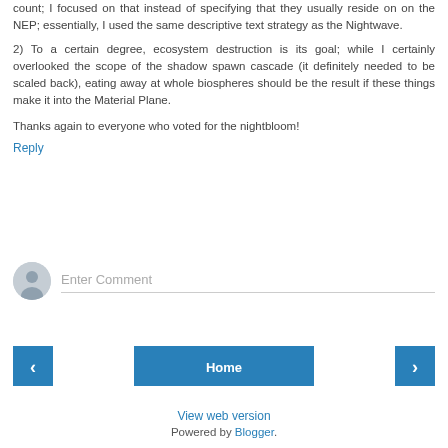count; I focused on that instead of specifying that they usually reside on on the NEP; essentially, I used the same descriptive text strategy as the Nightwave.
2) To a certain degree, ecosystem destruction is its goal; while I certainly overlooked the scope of the shadow spawn cascade (it definitely needed to be scaled back), eating away at whole biospheres should be the result if these things make it into the Material Plane.
Thanks again to everyone who voted for the nightbloom!
Reply
[Figure (other): Comment input area with user avatar circle and placeholder text 'Enter Comment' with underline]
[Figure (other): Navigation bar with left arrow button, Home button, and right arrow button]
View web version
Powered by Blogger.